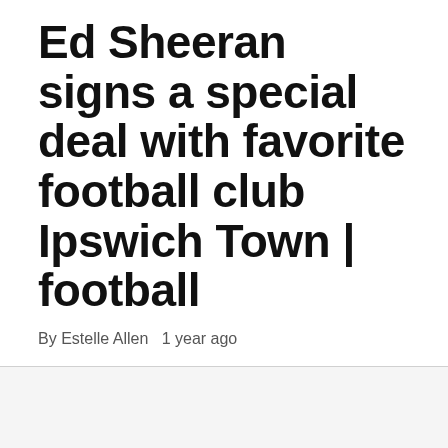Ed Sheeran signs a special deal with favorite football club Ipswich Town | football
By Estelle Allen   1 year ago
[Figure (other): Light gray content area with an orange back-to-top button (chevron/arrow pointing up) in the bottom-right corner]